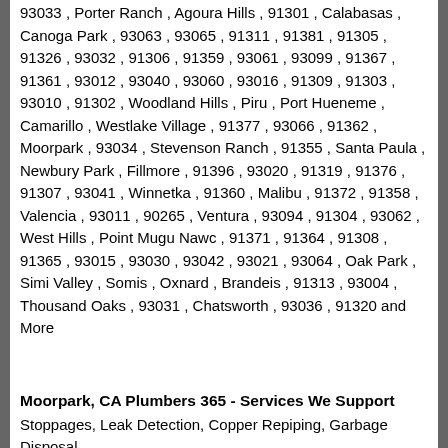93033 , Porter Ranch , Agoura Hills , 91301 , Calabasas , Canoga Park , 93063 , 93065 , 91311 , 91381 , 91305 , 91326 , 93032 , 91306 , 91359 , 93061 , 93099 , 91367 , 91361 , 93012 , 93040 , 93060 , 93016 , 91309 , 91303 , 93010 , 91302 , Woodland Hills , Piru , Port Hueneme , Camarillo , Westlake Village , 91377 , 93066 , 91362 , Moorpark , 93034 , Stevenson Ranch , 91355 , Santa Paula , Newbury Park , Fillmore , 91396 , 93020 , 91319 , 91376 , 91307 , 93041 , Winnetka , 91360 , Malibu , 91372 , 91358 , Valencia , 93011 , 90265 , Ventura , 93094 , 91304 , 93062 , West Hills , Point Mugu Nawc , 91371 , 91364 , 91308 , 91365 , 93015 , 93030 , 93042 , 93021 , 93064 , Oak Park , Simi Valley , Somis , Oxnard , Brandeis , 91313 , 93004 , Thousand Oaks , 93031 , Chatsworth , 93036 , 91320 and More
Moorpark, CA Plumbers 365 - Services We Support
Stoppages, Leak Detection, Copper Repiping, Garbage Disposal,